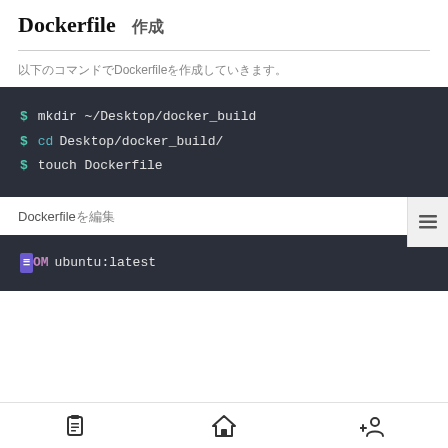Dockerfile作成
以下のコマンドでDockerfileを作成していきます。
[Figure (screenshot): Terminal code block showing: $ mkdir ~/Desktop/docker_build
$ cd Desktop/docker_build/
$ touch Dockerfile]
Dockerfileを編集
[Figure (screenshot): Terminal code block showing: FROM ubuntu:latest]
Home | Menu | Add user icons